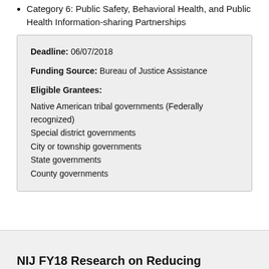Category 6: Public Safety, Behavioral Health, and Public Health Information-sharing Partnerships
Deadline: 06/07/2018
Funding Source: Bureau of Justice Assistance
Eligible Grantees:
Native American tribal governments (Federally recognized)
Special district governments
City or township governments
State governments
County governments
NIJ FY18 Research on Reducing